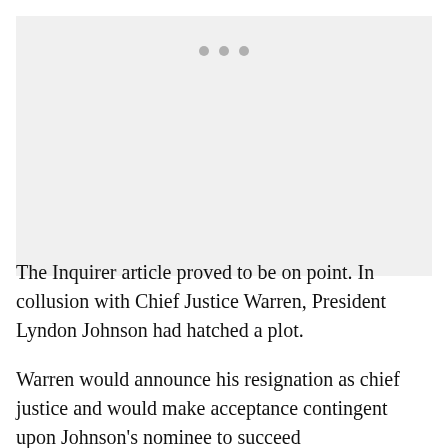[Figure (other): Gray placeholder image area with three gray dots at the top center]
The Inquirer article proved to be on point. In collusion with Chief Justice Warren, President Lyndon Johnson had hatched a plot.
Warren would announce his resignation as chief justice and would make acceptance contingent upon Johnson's nominee to succeed